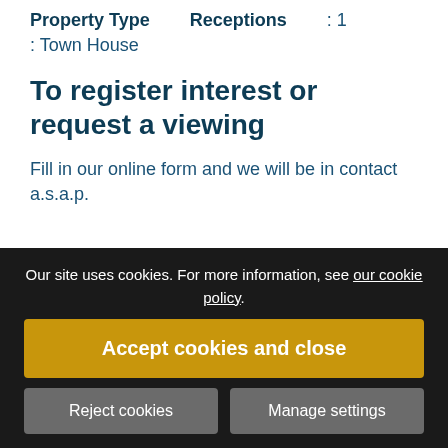Property Type    Receptions : 1
: Town House
To register interest or request a viewing
Fill in our online form and we will be in contact a.s.a.p.
Our site uses cookies. For more information, see our cookie policy.
Accept cookies and close
Reject cookies    Manage settings